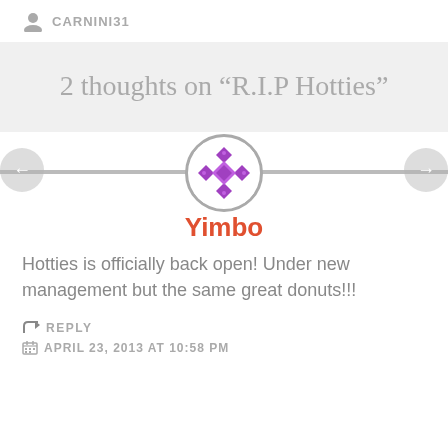CARNINI31
2 thoughts on “R.I.P Hotties”
[Figure (illustration): Circular avatar with purple diamond/geometric pattern on white background, grey border]
Yimbo
Hotties is officially back open! Under new management but the same great donuts!!!
REPLY
APRIL 23, 2013 AT 10:58 PM